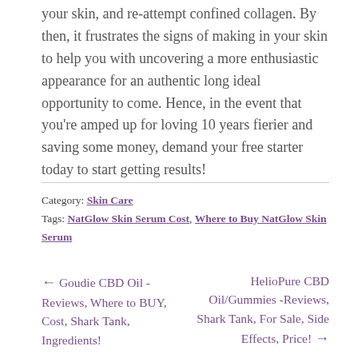your skin, and re-attempt confined collagen. By then, it frustrates the signs of making in your skin to help you with uncovering a more enthusiastic appearance for an authentic long ideal opportunity to come. Hence, in the event that you're amped up for loving 10 years fierier and saving some money, demand your free starter today to start getting results!
Category: Skin Care
Tags: NatGlow Skin Serum Cost, Where to Buy NatGlow Skin Serum
← Goudie CBD Oil -Reviews, Where to BUY, Cost, Shark Tank, Ingredients!    HelioPure CBD Oil/Gummies -Reviews, Shark Tank, For Sale, Side Effects, Price! →